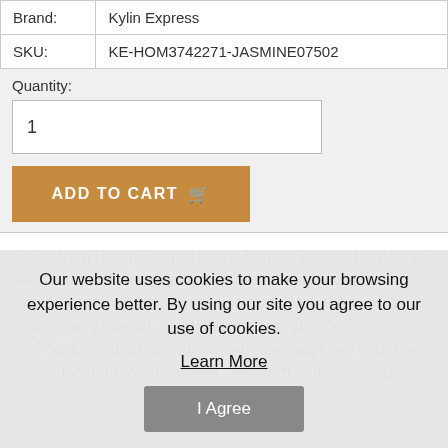| Brand: | Kylin Express |
| SKU: | KE-HOM3742271-JASMINE07502 |
Quantity:
1
ADD TO CART
Ships from Hong Kong. It keeps home clean and dry for all weather conditions. Make your home more inviting with our printed contemporary styled doormat. Package includes 1 x doormat. Material: coral fleece. Size: 40x60cm / 15.7"x23.6" Super absorbent and non-slip; keep your floors clean. Fits bathroom, kitchen, bedroom, outdoors and
Our website uses cookies to make your browsing experience better. By using our site you agree to our use of cookies.
Learn More
I Agree